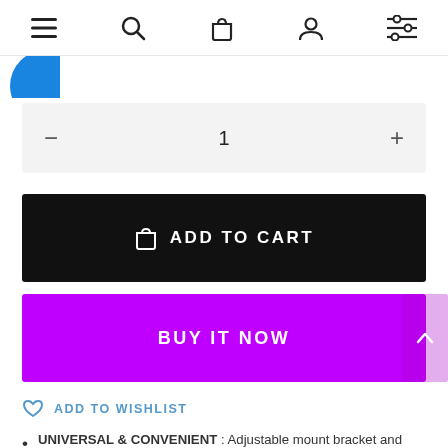Navigation bar with menu, search, cart, account, and filter icons
[Figure (logo): Partial blue circle logo in upper left area]
1 (quantity selector with minus and plus buttons)
ADD TO CART
BUY IT NOW
ADD TO WISHLIST
UNIVERSAL & CONVENIENT : Adjustable mount bracket and visible lubber line for easy direction reading, and great for boat, marine boat, truck and caravan.
DURABLE—Made of high quality material, it is waterproof